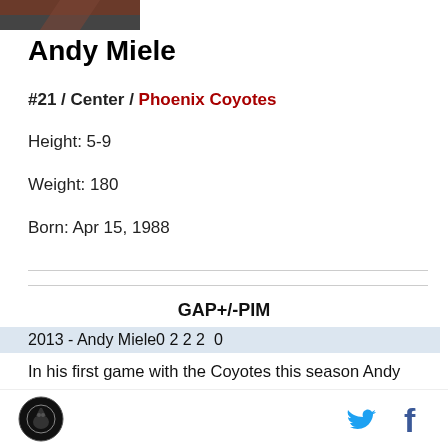[Figure (photo): Partial player photo strip at top]
Andy Miele
#21 / Center / Phoenix Coyotes
Height: 5-9
Weight: 180
Born: Apr 15, 1988
GAP+/-PIM
2013 - Andy Miele0 2 2 2  0
In his first game with the Coyotes this season Andy Miele looked great and had assists on the Coyotes first
[Figure (logo): Site logo circular icon bottom left]
[Figure (logo): Twitter and Facebook icons bottom right]